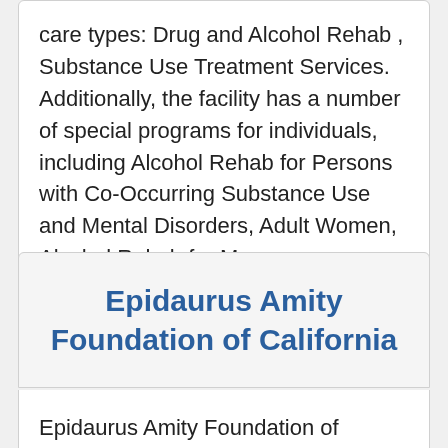care types: Drug and Alcohol Rehab , Substance Use Treatment Services. Additionally, the facility has a number of special programs for individuals, including Alcohol Rehab for Persons with Co-Occurring Substance Use and Mental Disorders, Adult Women, Alcohol Rehab for Men.
Epidaurus Amity Foundation of California
Epidaurus Amity Foundation of California is based in Vista, California - (2260 Watson Way 92083).